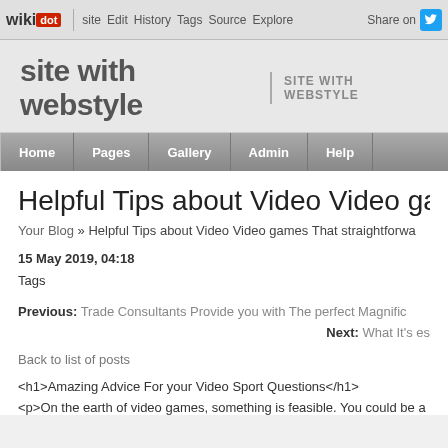wikidot | site | Edit | History | Tags | Source | Explore | Share on [Twitter]
site with webstyle | SITE WITH WEBSTYLE
Home | Pages | Gallery | Admin | Help
Helpful Tips about Video Video games Th
Your Blog » Helpful Tips about Video Video games That straightforwa
15 May 2019, 04:18
Tags
Previous: Trade Consultants Provide you with The perfect Magnific
Next: What It's es
Back to list of posts
<h1>Amazing Advice For your Video Sport Questions</h1>
<p>On the earth of video games, something is feasible. You could be a